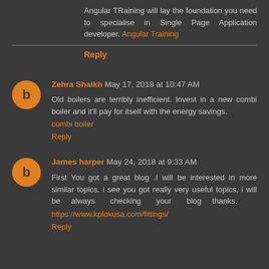Angular TRaining will lay the foundation you need to specialise in Single Page Application developer. Angular Training
Reply
Zehra Shaikh May 17, 2018 at 10:47 AM
Old boilers are terribly inefficient. Invest in a new combi boiler and it'll pay for itself with the energy savings.
combi boiler
Reply
James harper May 24, 2018 at 9:33 AM
First You got a great blog .I will be interested in more similar topics. i see you got really very useful topics, i will be always checking your blog thanks.
https://www.kplokusa.com/fittings/
Reply